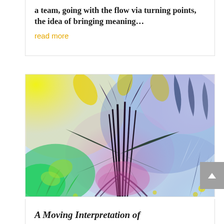a team, going with the flow via turning points, the idea of bringing meaning…
read more
[Figure (illustration): Colorful abstract botanical illustration featuring tropical plants with dramatic yellow, blue, pink, and green watercolor-style background. Dark plant stalks rise from center surrounded by lush foliage in vivid colors.]
A Moving Interpretation of